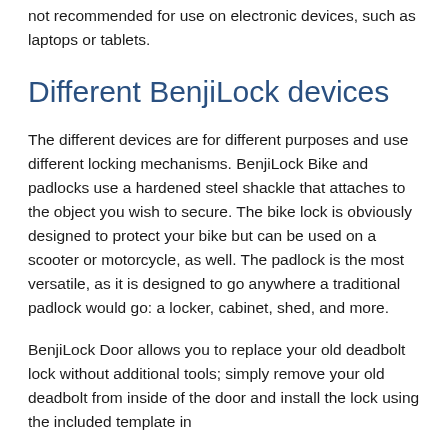not recommended for use on electronic devices, such as laptops or tablets.
Different BenjiLock devices
The different devices are for different purposes and use different locking mechanisms. BenjiLock Bike and padlocks use a hardened steel shackle that attaches to the object you wish to secure. The bike lock is obviously designed to protect your bike but can be used on a scooter or motorcycle, as well. The padlock is the most versatile, as it is designed to go anywhere a traditional padlock would go: a locker, cabinet, shed, and more.
BenjiLock Door allows you to replace your old deadbolt lock without additional tools; simply remove your old deadbolt from inside of the door and install the lock using the included template in